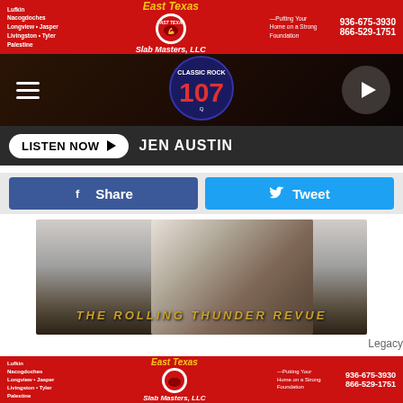[Figure (infographic): Top banner advertisement for East Texas Slab Masters LLC showing red background, company logo with muscular arm graphic, tagline 'Putting Your Home on a Strong Foundation', phone numbers 936-675-3930 and 866-529-1751, and service areas: Lufkin, Nacogdoches, Longview, Jasper, Livingston, Tyler, Palestine]
[Figure (logo): Classic Rock 107 radio station logo with navigation hamburger menu on the left and play button on the right]
LISTEN NOW ▶  JEN AUSTIN
[Figure (other): Facebook Share button (blue) and Twitter Tweet button (cyan blue)]
[Figure (photo): Black and white photo of Bob Dylan with text overlay 'THE ROLLING THUNDER REVUE' in gold letters]
Legacy
14: 'The Bootleg Series Vol. 5: Bob Dylan Live 1975, The Rolling Thunder Revue' (2002)
[Figure (infographic): Bottom banner advertisement for East Texas Slab Masters LLC, identical to top banner with phone numbers 936-675-3930 and 866-529-1751]